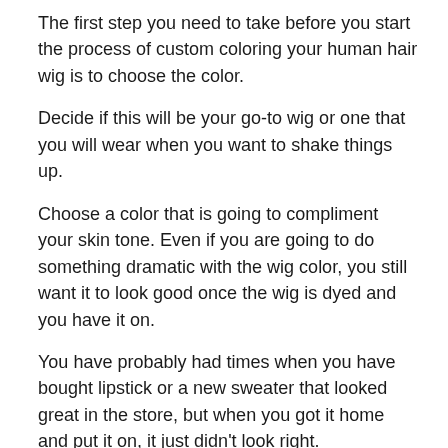The first step you need to take before you start the process of custom coloring your human hair wig is to choose the color.
Decide if this will be your go-to wig or one that you will wear when you want to shake things up.
Choose a color that is going to compliment your skin tone. Even if you are going to do something dramatic with the wig color, you still want it to look good once the wig is dyed and you have it on.
You have probably had times when you have bought lipstick or a new sweater that looked great in the store, but when you got it home and put it on, it just didn't look right.
That can have a lot to do with your skin tones. These are the natural colors underneath the surface of your skin.